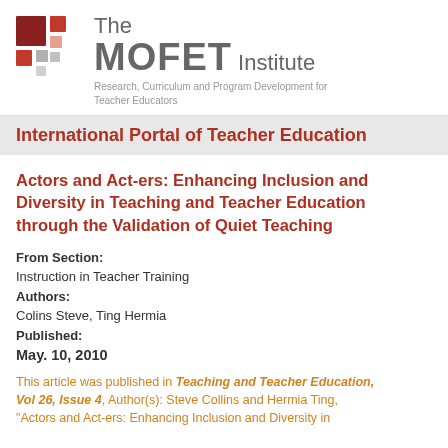[Figure (logo): The MOFET Institute logo with colorful block graphic and text including subtitle: Research, Curriculum and Program Development for Teacher Educators]
International Portal of Teacher Education
Actors and Act-ers: Enhancing Inclusion and Diversity in Teaching and Teacher Education through the Validation of Quiet Teaching
From Section:
Instruction in Teacher Training
Authors:
Colins Steve, Ting Hermia
Published:
May. 10, 2010
This article was published in Teaching and Teacher Education, Vol 26, Issue 4, Author(s): Steve Collins and Hermia Ting, "Actors and Act-ers: Enhancing Inclusion and Diversity in